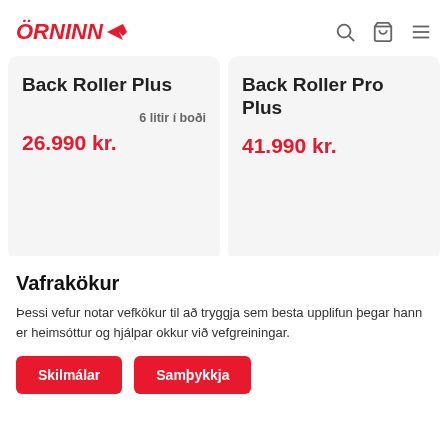ÖRNINN
Back Roller Plus
6 litir í boði
26.990 kr.
Back Roller Pro Plus
41.990 kr.
[Figure (photo): Red Ortlieb Back Roller Plus backpack]
[Figure (photo): Red Ortlieb Back Roller Pro Plus backpack]
Vafrakökur
Þessi vefur notar vefkökur til að tryggja sem besta upplifun þegar hann er heimsóttur og hjálpar okkur við vefgreiningar.
Skilmálar
Samþykkja